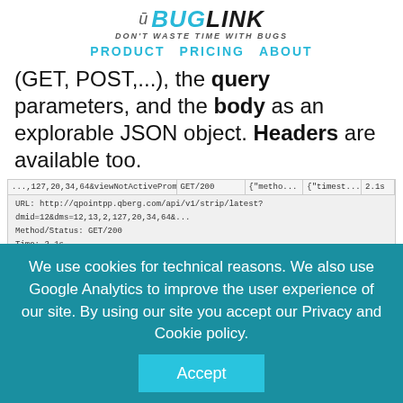BUGLINK — DON'T WASTE TIME WITH BUGS — PRODUCT PRICING ABOUT
(GET, POST,...), the query parameters, and the body as an explorable JSON object. Headers are available too.
[Figure (screenshot): Screenshot of BugLink network request inspector showing URL, Method/Status GET/200, Time 2.1s, and expanded request object with method, url, path, and timestamp fields]
We use cookies for technical reasons. We also use Google Analytics to improve the user experience of our site. By using our site you accept our Privacy and Cookie policy.
Accept